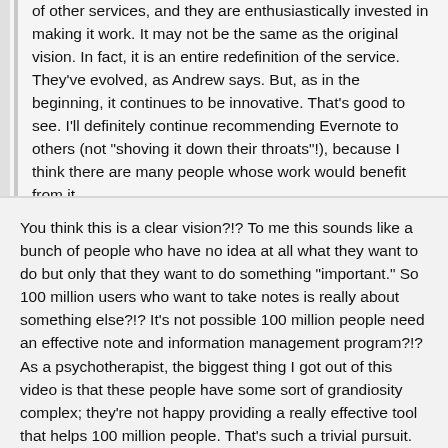of other services, and they are enthusiastically invested in making it work. It may not be the same as the original vision. In fact, it is an entire redefinition of the service. They've evolved, as Andrew says. But, as in the beginning, it continues to be innovative. That's good to see. I'll definitely continue recommending Evernote to others (not 'shoving it down their throats'!), because I think there are many people whose work would benefit from it.
You think this is a clear vision?!? To me this sounds like a bunch of people who have no idea at all what they want to do but only that they want to do something "important." So 100 million users who want to take notes is really about something else?!? It's not possible 100 million people need an effective note and information management program?!? As a psychotherapist, the biggest thing I got out of this video is that these people have some sort of grandiosity complex; they're not happy providing a really effective tool that helps 100 million people. That's such a trivial pursuit. Instead,